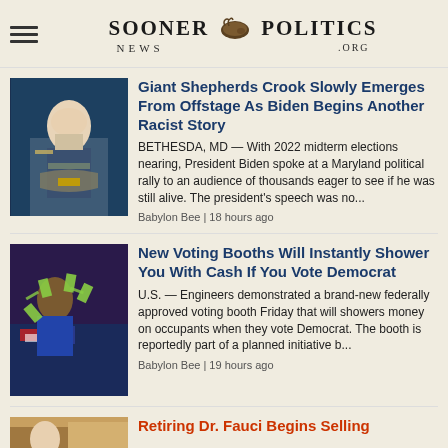Sooner Politics News .org
[Figure (photo): Photo of President Biden speaking at a podium with the Presidential seal]
Giant Shepherds Crook Slowly Emerges From Offstage As Biden Begins Another Racist Story
BETHESDA, MD — With 2022 midterm elections nearing, President Biden spoke at a Maryland political rally to an audience of thousands eager to see if he was still alive. The president's speech was no...
Babylon Bee | 18 hours ago
[Figure (photo): Photo of a child surrounded by flying cash money near a voting booth]
New Voting Booths Will Instantly Shower You With Cash If You Vote Democrat
U.S. — Engineers demonstrated a brand-new federally approved voting booth Friday that will showers money on occupants when they vote Democrat. The booth is reportedly part of a planned initiative b...
Babylon Bee | 19 hours ago
[Figure (photo): Partial photo thumbnail for the third article about Dr. Fauci]
Retiring Dr. Fauci Begins Selling